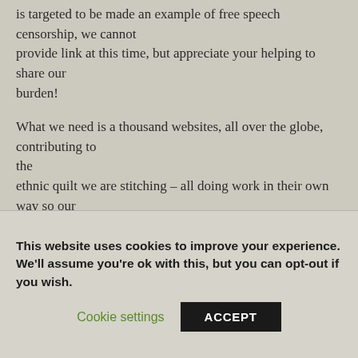is targeted to be made an example of free speech censorship, we cannot provide link at this time, but appreciate your helping to share our burden!

What we need is a thousand websites, all over the globe, contributing to the ethnic quilt we are stitching – all doing work in their own way so our children and children's children will have a warmer, cozier world than
This website uses cookies to improve your experience. We'll assume you're ok with this, but you can opt-out if you wish.
Cookie settings    ACCEPT